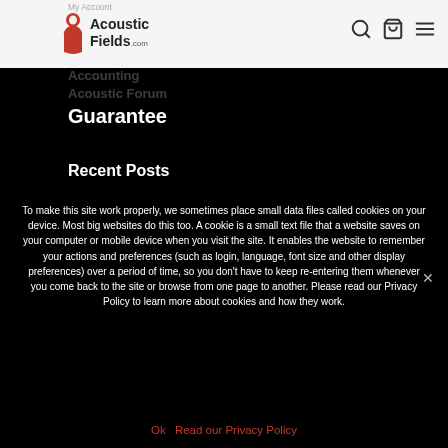My Account
[Figure (logo): Acoustic Fields .com logo with red and white circular icon]
Acoustic Forum
Guarantee
Recent Posts
To make this site work properly, we sometimes place small data files called cookies on your device. Most big websites do this too. A cookie is a small text file that a website saves on your computer or mobile device when you visit the site. It enables the website to remember your actions and preferences (such as login, language, font size and other display preferences) over a period of time, so you don't have to keep re-entering them whenever you come back to the site or browse from one page to another. Please read our Privacy Policy to learn more about cookies and how they work.
Ok   Read our Privacy Policy